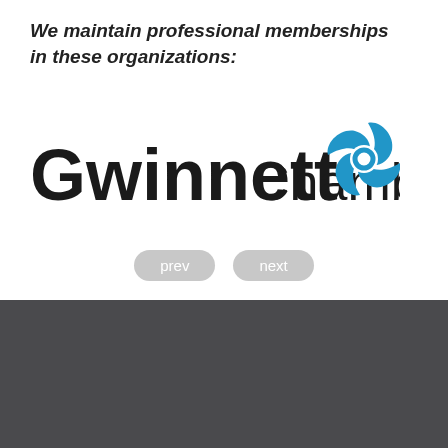We maintain professional memberships in these organizations:
[Figure (logo): Gwinnett Chamber logo with bold 'Gwinnett' text, lighter 'Chamber' text, and a blue pinwheel/swirl graphic mark on the right]
[Figure (other): Navigation buttons: 'prev' and 'next' with rounded pill shapes in grey]
[Figure (logo): Jesse W. White & Associates, LLC logo - white geometric arrow/house icon on dark grey background with white company name text]